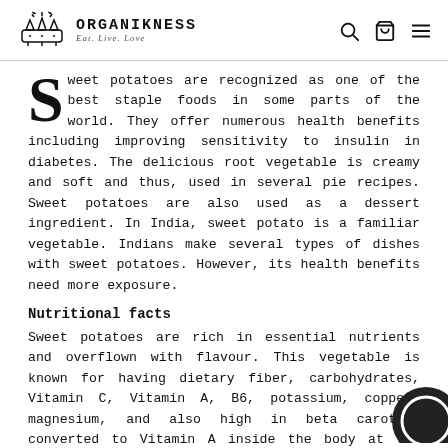ORGANIKNESS — Eat. Live. Love.
Sweet potatoes are recognized as one of the best staple foods in some parts of the world. They offer numerous health benefits including improving sensitivity to insulin in diabetes. The delicious root vegetable is creamy and soft and thus, used in several pie recipes. Sweet potatoes are also used as a dessert ingredient. In India, sweet potato is a familiar vegetable. Indians make several types of dishes with sweet potatoes. However, its health benefits need more exposure.
Nutritional facts
Sweet potatoes are rich in essential nutrients and overflown with flavour. This vegetable is known for having dietary fiber, carbohydrates, Vitamin C, Vitamin A, B6, potassium, copper, magnesium, and also high in beta carotene converted to Vitamin A inside the body at the time of digestion.